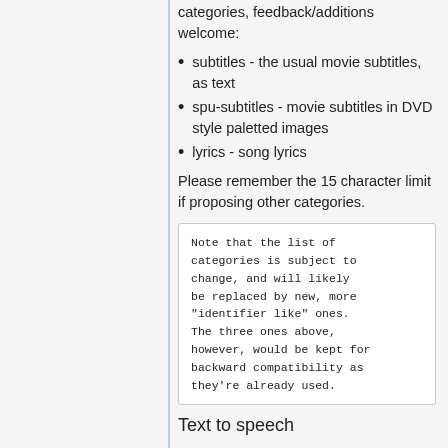This is a list of proposed production categories, feedback/additions welcome:
subtitles - the usual movie subtitles, as text
spu-subtitles - movie subtitles in DVD style paletted images
lyrics - song lyrics
Please remember the 15 character limit if proposing other categories.
Note that the list of categories is subject to change, and will likely be replaced by new, more "identifier like" ones. The three ones above, however, would be kept for backward compatibility as they're already used.
Text to speech